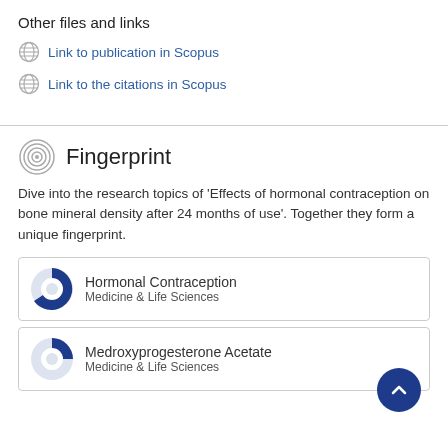Other files and links
Link to publication in Scopus
Link to the citations in Scopus
Fingerprint
Dive into the research topics of 'Effects of hormonal contraception on bone mineral density after 24 months of use'. Together they form a unique fingerprint.
Hormonal Contraception
Medicine & Life Sciences
Medroxyprogesterone Acetate
Medicine & Life Sciences